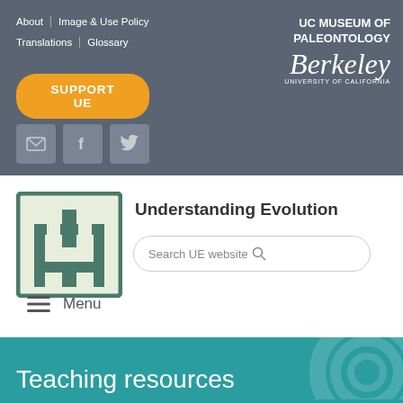About | Image & Use Policy
Translations | Glossary
SUPPORT UE
[Figure (logo): UC Museum of Paleontology, Berkeley University of California logo]
[Figure (logo): Understanding Evolution logo icon - stylized evolutionary tree in teal/green square]
Understanding Evolution
Search UE website
≡  Menu
Teaching resources